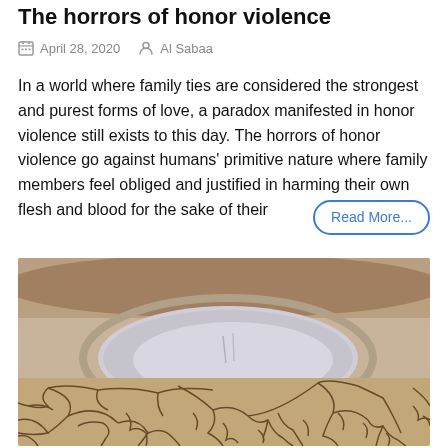The horrors of honor violence
April 28, 2020   Al Sabaa
In a world where family ties are considered the strongest and purest forms of love, a paradox manifested in honor violence still exists to this day. The horrors of honor violence go against humans' primitive nature where family members feel obliged and justified in harming their own flesh and blood for the sake of their
[Figure (photo): Photograph of a drought-stricken landscape showing a small pool of water surrounded by deeply cracked dry earth.]